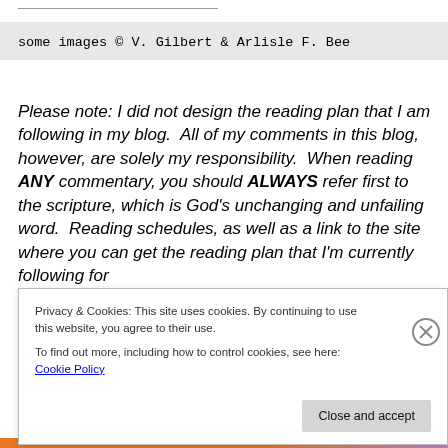some images © V. Gilbert & Arlisle F. Bee
Please note: I did not design the reading plan that I am following in my blog.  All of my comments in this blog, however, are solely my responsibility.  When reading ANY commentary, you should ALWAYS refer first to the scripture, which is God's unchanging and unfailing word.  Reading schedules, as well as a link to the site where you can get the reading plan that I'm currently following for
Privacy & Cookies: This site uses cookies. By continuing to use this website, you agree to their use.
To find out more, including how to control cookies, see here: Cookie Policy
Close and accept